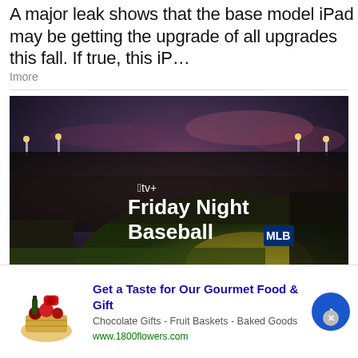A major leak shows that the base model iPad may be getting the upgrade of all upgrades this fall. If true, this iP…
Imore
[Figure (photo): Night baseball game at a stadium with an Apple TV+ Friday Night Baseball overlay logo in white text, dramatic dusk sky]
Apple TV+ announces August schedule for
Get a Taste for Our Gourmet Food & Gift
Chocolate Gifts - Fruit Baskets - Baked Goods
www.1800flowers.com